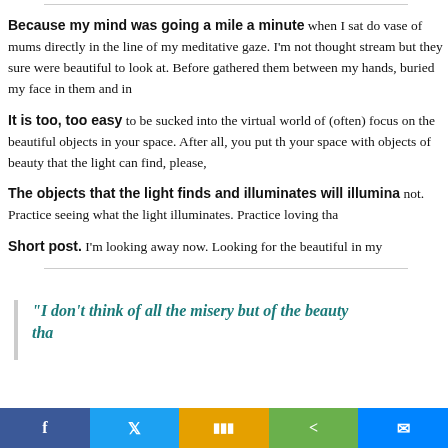Because my mind was going a mile a minute when I sat do... vase of mums directly in the line of my meditative gaze. I'm not... thought stream but they sure were beautiful to look at. Before... gathered them between my hands, buried my face in them and in...
It is too, too easy to be sucked into the virtual world of (often)... focus on the beautiful objects in your space. After all, you put th... your space with objects of beauty that the light can find, please,...
The objects that the light finds and illuminates will illumina... not. Practice seeing what the light illuminates. Practice loving tha...
Short post. I'm looking away now. Looking for the beautiful in my...
"I don't think of all the misery but of the beauty tha...